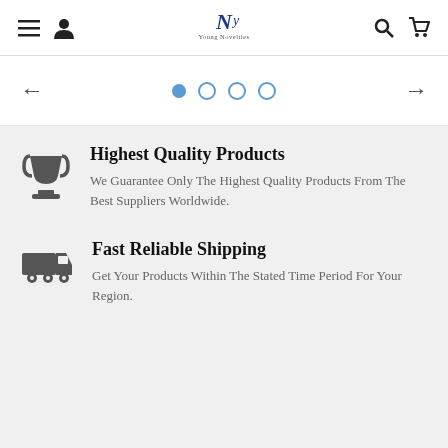Navigation header with menu, user, logo (Young Novelties), search, and cart icons
[Figure (other): Carousel slider navigation with left arrow, four pagination dots (first filled/active in blue), and right arrow]
Highest Quality Products
We Guarantee Only The Highest Quality Products From The Best Suppliers Worldwide.
Fast Reliable Shipping
Get Your Products Within The Stated Time Period For Your Region.